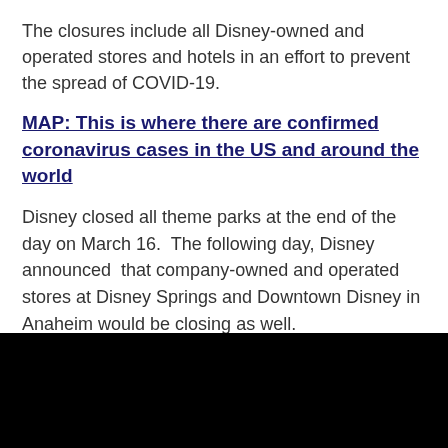The closures include all Disney-owned and operated stores and hotels in an effort to prevent the spread of COVID-19.
MAP: This is where there are confirmed coronavirus cases in the US and around the world
Disney closed all theme parks at the end of the day on March 16.  The following day, Disney announced  that company-owned and operated stores at Disney Springs and Downtown Disney in Anaheim would be closing as well.
[Figure (photo): Black image area at the bottom of the page]